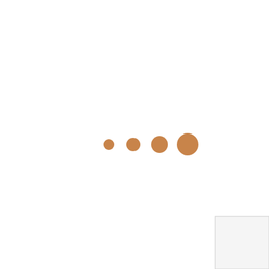[Figure (other): Four filled circles in a horizontal row, increasing in size from left to right, colored in a warm brown/tan tone. A white rectangular box appears in the bottom-right corner.]